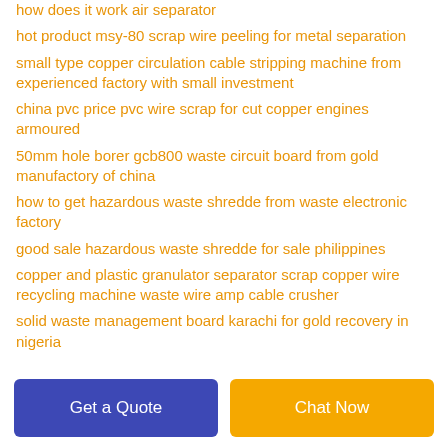how does it work air separator
hot product msy-80 scrap wire peeling for metal separation
small type copper circulation cable stripping machine from experienced factory with small investment
china pvc price pvc wire scrap for cut copper engines armoured
50mm hole borer gcb800 waste circuit board from gold manufactory of china
how to get hazardous waste shredde from waste electronic factory
good sale hazardous waste shredde for sale philippines
copper and plastic granulator separator scrap copper wire recycling machine waste wire amp cable crusher
solid waste management board karachi for gold recovery in nigeria